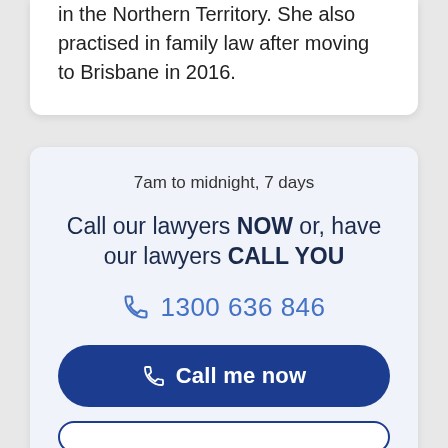in the Northern Territory. She also practised in family law after moving to Brisbane in 2016.
7am to midnight, 7 days
Call our lawyers NOW or, have our lawyers CALL YOU
1300 636 846
Call me now